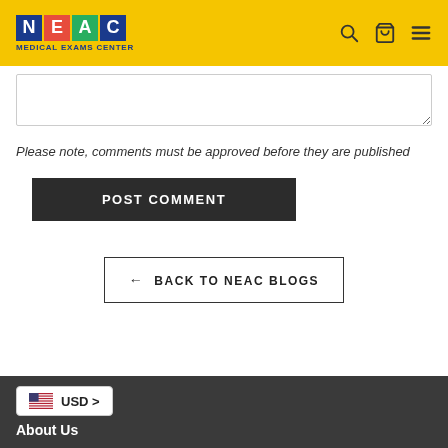[Figure (logo): NEAC Medical Exams Center logo with colored letter blocks N (blue), E (red), A (green), C (blue) on yellow header background]
Please note, comments must be approved before they are published
POST COMMENT
← BACK TO NEAC BLOGS
USD >
About Us